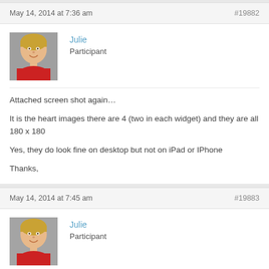May 14, 2014 at 7:36 am | #19882
[Figure (photo): Profile photo of Julie - woman with short blonde hair wearing red top]
Julie
Participant
Attached screen shot again…

It is the heart images there are 4 (two in each widget) and they are all 180 x 180

Yes, they do look fine on desktop but not on iPad or IPhone

Thanks,
May 14, 2014 at 7:45 am | #19883
[Figure (photo): Profile photo of Julie - woman with short blonde hair wearing red top]
Julie
Participant